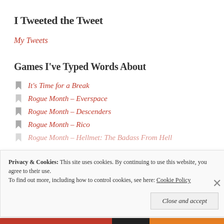I Tweeted the Tweet
My Tweets
Games I've Typed Words About
It's Time for a Break
Rogue Month – Everspace
Rogue Month – Descenders
Rogue Month – Rico
Rogue Month – Hellmet: The Badass From Hell
Privacy & Cookies: This site uses cookies. By continuing to use this website, you agree to their use.
To find out more, including how to control cookies, see here: Cookie Policy
Close and accept